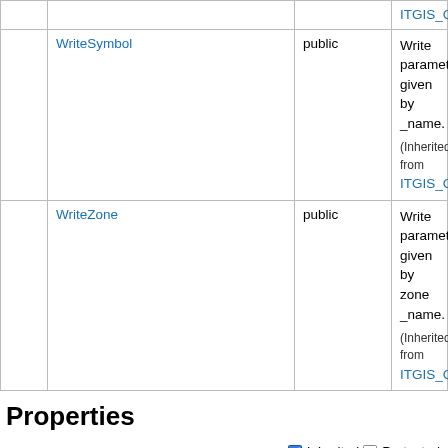|  | Name | Visibility | Description |
| --- | --- | --- | --- |
|  | ITGIS_Config) |  |  |
|  | WriteSymbol | public | Write parameters given by _name.
(Inherited from ITGIS_Config) |
|  | WriteZone | public | Write parameters given by zone _name.
(Inherited from ITGIS_Config) |
Properties
|  | Name | Visibility | Description |
| --- | --- | --- | --- |